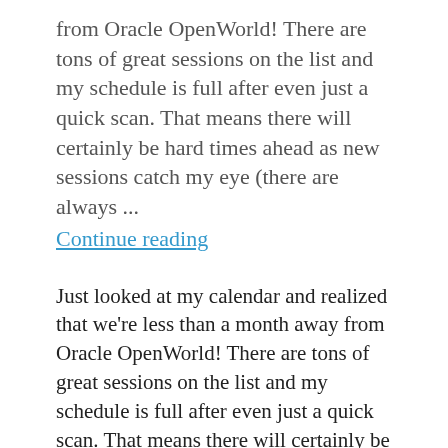from Oracle OpenWorld! There are tons of great sessions on the list and my schedule is full after even just a quick scan. That means there will certainly be hard times ahead as new sessions catch my eye (there are always ...
Continue reading
Just looked at my calendar and realized that we're less than a month away from Oracle OpenWorld! There are tons of great sessions on the list and my schedule is full after even just a quick scan. That means there will certainly be hard times ahead as new sessions catch my eye (there are always a few) and I have to make the hard decisions on the fly.